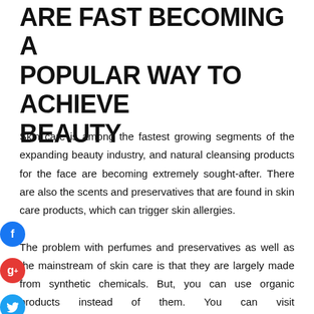ARE FAST BECOMING A POPULAR WAY TO ACHIEVE BEAUTY
Skin care is among the fastest growing segments of the expanding beauty industry, and natural cleansing products for the face are becoming extremely sought-after. There are also the scents and preservatives that are found in skin care products, which can trigger skin allergies.

The problem with perfumes and preservatives as well as the mainstream of skin care is that they are largely made from synthetic chemicals. But, you can use organic products instead of them. You can visit www.maaemo.com.au/collections/organic-skincare to buy organic facial cleansers.